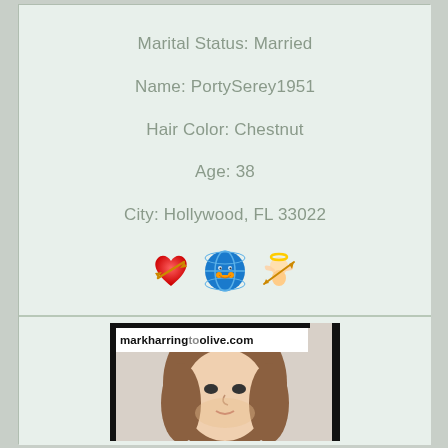Marital Status: Married
Name: PortySerey1951
Hair Color: Chestnut
Age: 38
City: Hollywood, FL 33022
[Figure (illustration): Three decorative emoji icons: a red heart with arrow, a blue globe with face, and a Cupid/angel figure]
[Figure (photo): Photo of a young woman with long brown hair, with watermark text 'markharringtoolive.com' overlaid]